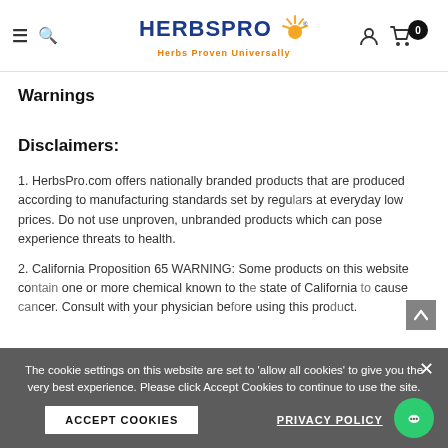HERBSPRO - Herbs Proven Universally
Warnings
Disclaimers:
1. HerbsPro.com offers nationally branded products that are produced according to manufacturing standards set by regulators at everyday low prices. Do not use unproven, unbranded products which can pose experience threats to health.
2. California Proposition 65 WARNING: Some products on this website contain one or more chemical known to the state of California to cause cancer. Consult with your physician before using this product.
The cookie settings on this website are set to 'allow all cookies' to give you the very best experience. Please click Accept Cookies to continue to use the site.